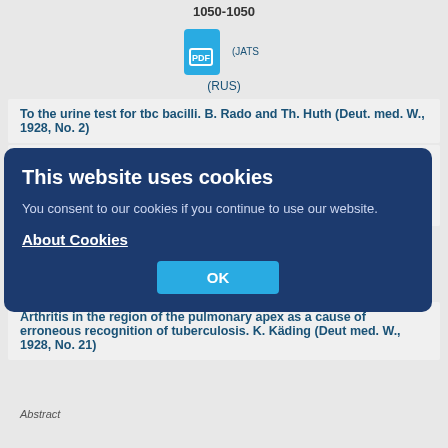1050-1050
[Figure (other): PDF icon with links: (JATS XML) and (RUS)]
To the urine test for tbc bacilli. B. Rado and Th. Huth (Deut. med. W., 1928, No. 2)
Abstract
In case of kidney tuberculosis, the Ziehl-Neelsen staining of the sediment gives a positive result in 80%. If the result is negative, stain the preparation in a thick...
medical journal. 1928;24(10):1050-1050
1050-1050
[Figure (other): Cookie consent overlay: 'This website uses cookies. You consent to our cookies if you continue to use our website. About Cookies [OK button]']
[Figure (other): Second PDF icon with links: (JATS XML) and (RUS)]
(RUS)
Arthritis in the region of the pulmonary apex as a cause of erroneous recognition of tuberculosis. K. Käding (Deut med. W., 1928, No. 21)
Abstract